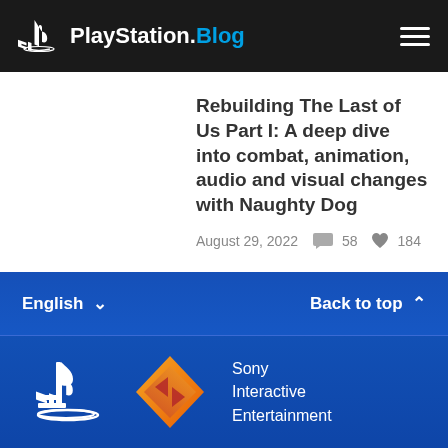PlayStation.Blog
Rebuilding The Last of Us Part I: A deep dive into combat, animation, audio and visual changes with Naughty Dog
August 29, 2022  58  184
English  Back to top
[Figure (logo): PlayStation logo and Sony Interactive Entertainment logo in blue footer]